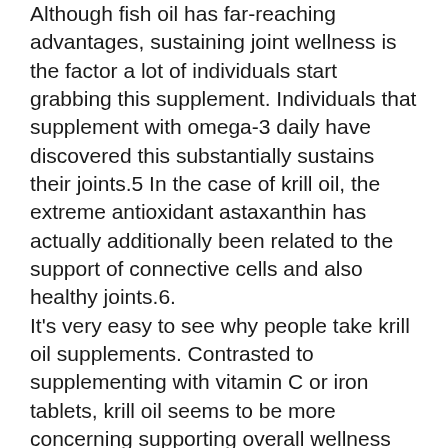Although fish oil has far-reaching advantages, sustaining joint wellness is the factor a lot of individuals start grabbing this supplement. Individuals that supplement with omega-3 daily have discovered this substantially sustains their joints.5 In the case of krill oil, the extreme antioxidant astaxanthin has actually additionally been related to the support of connective cells and also healthy joints.6. It's very easy to see why people take krill oil supplements. Contrasted to supplementing with vitamin C or iron tablets, krill oil seems to be more concerning supporting overall wellness rather than dealing with particular concerns or shortages.
The scientific neighborhood has verified